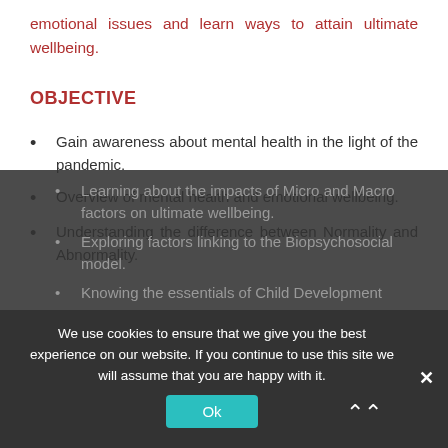emotional issues and learn ways to attain ultimate wellbeing.
OBJECTIVE
Gain awareness about mental health in the light of the pandemic.
Overview of mental health and emotional wellbeing.
Understanding the difference between Normality and Abnormality.
Learning about the impacts of Micro and Macro factors on ultimate wellbeing.
Exploring factors linking to the Biopsychosocial model.
Knowing the essentials of Child Development